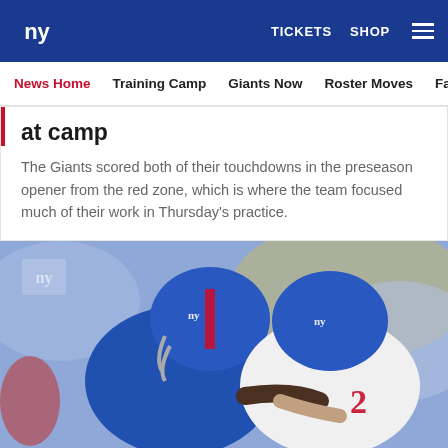NY Giants website header with logo, TICKETS, SHOP navigation
News Home | Training Camp | Giants Now | Roster Moves | Fact o
at camp
The Giants scored both of their touchdowns in the preseason opener from the red zone, which is where the team focused much of their work in Thursday's practice.
[Figure (photo): Two New York Giants players in blue uniforms with NY logo helmets engaging in contact during a preseason game]
[Figure (other): Social sharing icons row: Facebook, Twitter, Email, Share/Link]